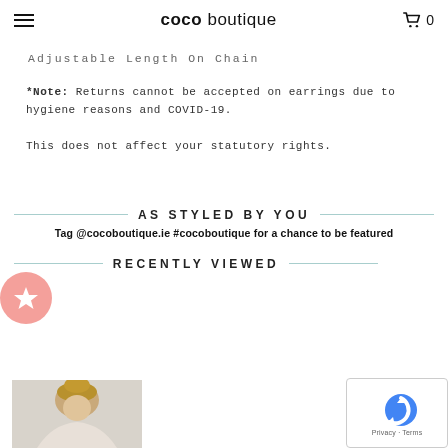coco boutique — cart 0
Adjustable Length On Chain
*Note: Returns cannot be accepted on earrings due to hygiene reasons and COVID-19.

This does not affect your statutory rights.
AS STYLED BY YOU
Tag @cocoboutique.ie #cocoboutique for a chance to be featured
RECENTLY VIEWED
[Figure (photo): Product photo of a person (model) with blonde hair pulled up, shown from shoulders up, set against a light grey background.]